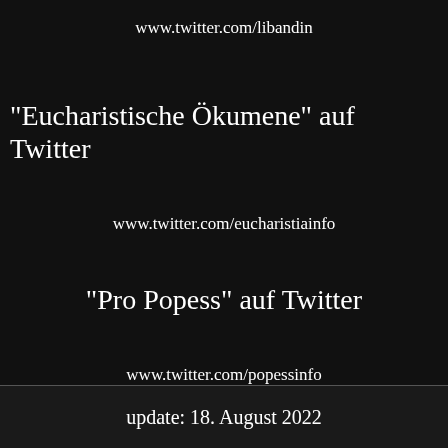www.twitter.com/libandin
"Eucharistische Ökumene" auf Twitter
www.twitter.com/eucharistiainfo
"Pro Popess" auf Twitter
www.twitter.com/popessinfo
update: 18. August 2022